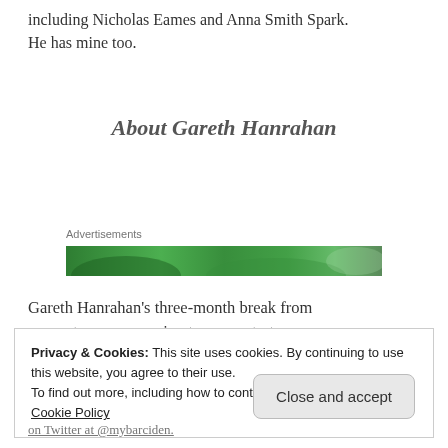including Nicholas Eames and Anna Smith Spark. He has mine too.
About Gareth Hanrahan
[Figure (other): Green advertisement banner with Advertisements label above it]
Gareth Hanrahan's three-month break from computer programming to concentrate on
Privacy & Cookies: This site uses cookies. By continuing to use this website, you agree to their use.
To find out more, including how to control cookies, see here: Cookie Policy
[Close and accept button]
on Twitter at @mybarciden.